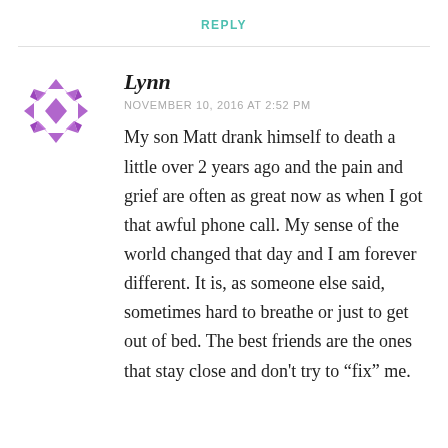REPLY
[Figure (illustration): Purple geometric flower/snowflake avatar icon made of rotated diamond shapes]
Lynn
NOVEMBER 10, 2016 AT 2:52 PM
My son Matt drank himself to death a little over 2 years ago and the pain and grief are often as great now as when I got that awful phone call. My sense of the world changed that day and I am forever different. It is, as someone else said, sometimes hard to breathe or just to get out of bed. The best friends are the ones that stay close and don't try to “fix” me.